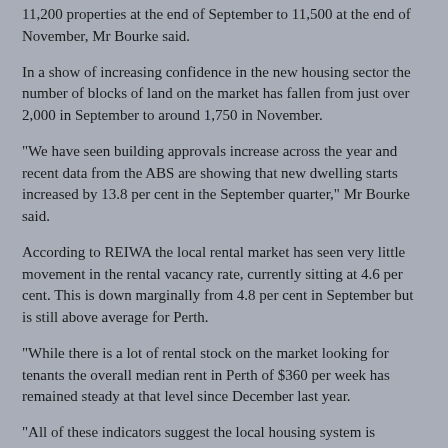11,200 properties at the end of September to 11,500 at the end of November, Mr Bourke said.
In a show of increasing confidence in the new housing sector the number of blocks of land on the market has fallen from just over 2,000 in September to around 1,750 in November.
"We have seen building approvals increase across the year and recent data from the ABS are showing that new dwelling starts increased by 13.8 per cent in the September quarter," Mr Bourke said.
According to REIWA the local rental market has seen very little movement in the rental vacancy rate, currently sitting at 4.6 per cent. This is down marginally from 4.8 per cent in September but is still above average for Perth.
"While there is a lot of rental stock on the market looking for tenants the overall median rent in Perth of $360 per week has remained steady at that level since December last year.
"All of these indicators suggest the local housing system is operating at normal levels with some capacity to absorb any additional demand that may be generated from the improving economic outlook over the coming 12 months," Mr Bourke said.